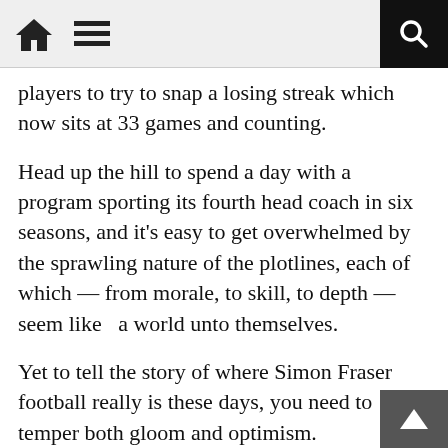[home icon] [menu icon] [search icon]
players to try to snap a losing streak which now sits at 33 games and counting.
Head up the hill to spend a day with a program sporting its fourth head coach in six seasons, and it's easy to get overwhelmed by the sprawling nature of the plotlines, each of which — from morale, to skill, to depth — seem like  a world unto themselves.
Yet to tell the story of where Simon Fraser football really is these days, you need to temper both gloom and optimism.
You need to find the new voice, but also listen to the ones who have seen and heard it all.
Together, you discover the common ground. And it's from there that a proud but ego-bruised fan base